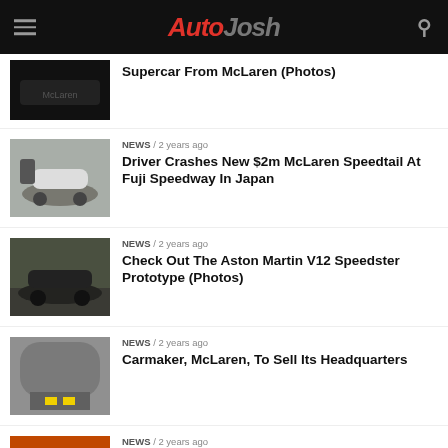AutoJosh
Supercar From McLaren (Photos)
NEWS / 2 years ago
Driver Crashes New $2m McLaren Speedtail At Fuji Speedway In Japan
NEWS / 2 years ago
Check Out The Aston Martin V12 Speedster Prototype (Photos)
NEWS / 2 years ago
Carmaker, McLaren, To Sell Its Headquarters
NEWS / 2 years ago
One Of 20 Rare McLaren Senna LM Crashes In Monaco (Photos)